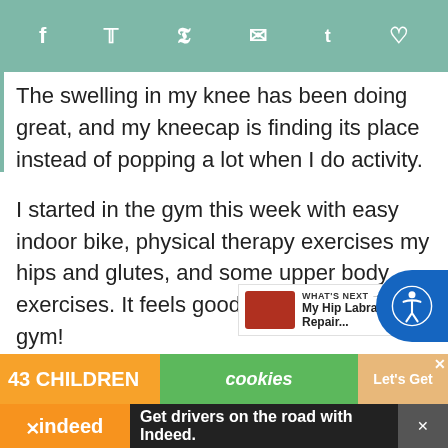Social share bar with icons: facebook, twitter, pinterest, email, tumblr, heart
The swelling in my knee has been doing great, and my kneecap is finding its place instead of popping a lot when I do activity.

I started in the gym this week with easy indoor bike, physical therapy exercises my hips and glutes, and some upper body exercises. It feels good to get back in the gym!
[Figure (other): Accessibility icon button overlay (blue circle with person icon)]
WHAT'S NEXT → My Hip Labral Repair...
ADVERTISEMENT
[Figure (other): Cookie ad banner: 43 CHILDREN cookies Let's Get]
[Figure (other): Indeed job advertisement bar: Get drivers on the road with Indeed.]